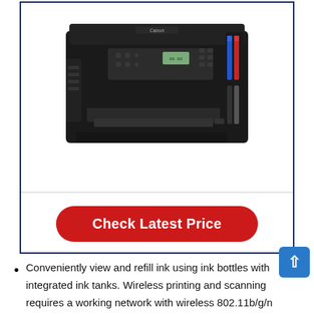[Figure (photo): Canon PIXMA G6020 or similar Canon MegaTank all-in-one printer, black, viewed from front-top angle, showing control panel, ink tank system with blue, red/magenta, and black ink bottles on right side.]
Check Latest Price
Conveniently view and refill ink using ink bottles with integrated ink tanks. Wireless printing and scanning requires a working network with wireless 802.11b/g/n capability, operating at 2.4GHz. Wireless performance may